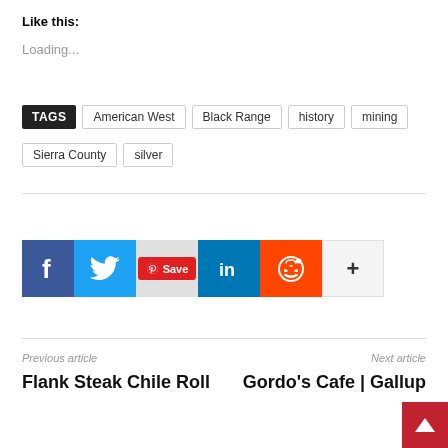Like this:
Loading...
TAGS  American West  Black Range  history  mining  Sierra County  silver
[Figure (infographic): Social sharing buttons: Facebook (blue), Twitter (light blue), Pinterest Save (red badge), LinkedIn (dark blue), Reddit (orange), More/plus button (light gray)]
Previous article
Flank Steak Chile Roll
Next article
Gordo's Cafe | Gallup